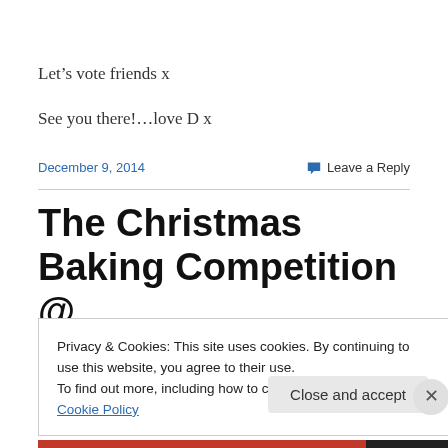Let's vote friends x
See you there!...love D x
December 9, 2014
Leave a Reply
The Christmas Baking Competition @
Privacy & Cookies: This site uses cookies. By continuing to use this website, you agree to their use.
To find out more, including how to control cookies, see here: Cookie Policy
Close and accept